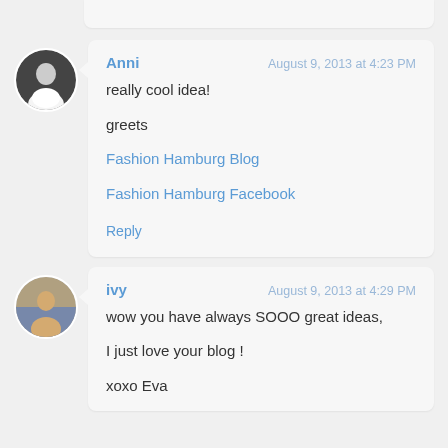Anni — August 9, 2013 at 4:23 PM
really cool idea!

greets

Fashion Hamburg Blog

Fashion Hamburg Facebook
Reply
ivy — August 9, 2013 at 4:29 PM
wow you have always SOOO great ideas,

I just love your blog !

xoxo Eva